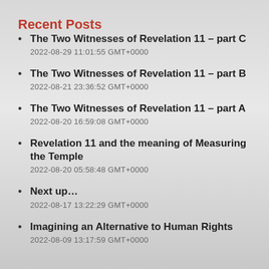Recent Posts
The Two Witnesses of Revelation 11 – part C
2022-08-29 11:01:55 GMT+0000
The Two Witnesses of Revelation 11 – part B
2022-08-21 23:36:52 GMT+0000
The Two Witnesses of Revelation 11 – part A
2022-08-20 16:59:08 GMT+0000
Revelation 11 and the meaning of Measuring the Temple
2022-08-20 05:58:48 GMT+0000
Next up…
2022-08-17 13:22:29 GMT+0000
Imagining an Alternative to Human Rights
2022-08-09 13:17:59 GMT+0000